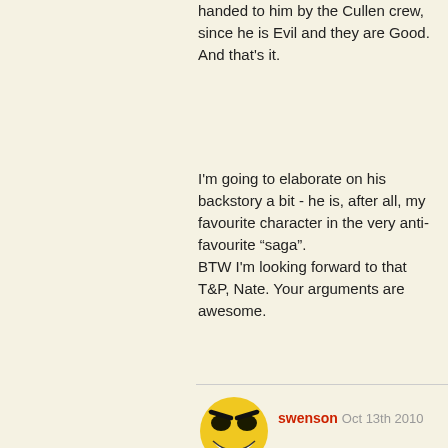handed to him by the Cullen crew, since he is Evil and they are Good.
And that's it.
I'm going to elaborate on his backstory a bit - he is, after all, my favourite character in the very anti-favourite "saga".
BTW I'm looking forward to that T&P, Nate. Your arguments are awesome.
[Figure (illustration): Avatar icon: yellow smiley face with evil grin and dark eyebrows]
swenson  Oct 13th 2010
Um, how do you "accidentally" track a werewolf? Was the werewolf wearing